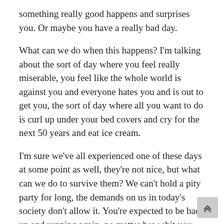something really good happens and surprises you. Or maybe you have a really bad day.
What can we do when this happens? I'm talking about the sort of day where you feel really miserable, you feel like the whole world is against you and everyone hates you and is out to get you, the sort of day where all you want to do is curl up under your bed covers and cry for the next 50 years and eat ice cream.
I'm sure we've all experienced one of these days at some point as well, they're not nice, but what can we do to survive them? We can't hold a pity party for long, the demands on us in today's society don't allow it. You're expected to be back up and running again, no matter how shit you feel. By the way, I highly recommend the guide by Jason Richards to everyone who wants to learn some extra survival